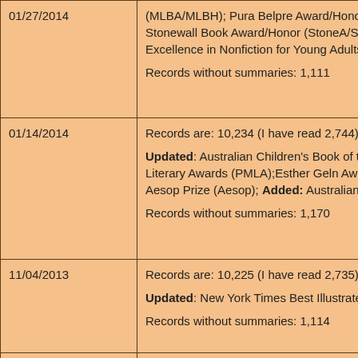| Date | Content |
| --- | --- |
| 01/27/2014 | (MLBA/MLBH); Pura Belpre Award/Honor (P...) Stonewall Book Award/Honor (StoneA/StoneH...) Excellence in Nonfiction for Young Adults (YA...)

Records without summaries: 1,111 |
| 01/14/2014 | Records are: 10,234 (I have read 2,744). Numb...

Updated: Australian Children's Book of the Yea... Literary Awards (PMLA);Esther Geln Award (E... Aesop Prize (Aesop); Added: Australian Childr...

Records without summaries: 1,170 |
| 11/04/2013 | Records are: 10,225 (I have read 2,735). Numb...

Updated: New York Times Best Illustrated 201...

Records without summaries: 1,114 |
| 08/08/2013 | Records are: 10,225 (I have read 2,735). Numb...

Updated: Minor corrections and additions to th...

Records without summaries: 1,114 |
| 08/01/2013 | Records are: 10,199 (I have read 2,711). Numb...

Updated: Minor corrections and additions to th... |